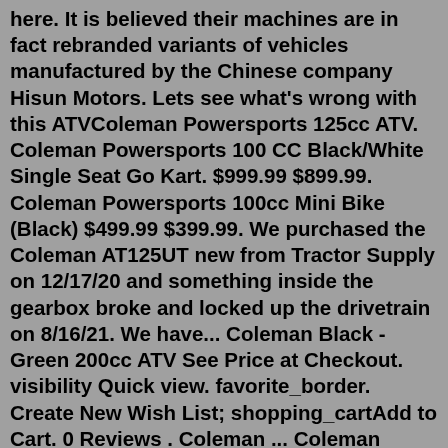here. It is believed their machines are in fact rebranded variants of vehicles manufactured by the Chinese company Hisun Motors. Lets see what's wrong with this ATVColeman Powersports 125cc ATV. Coleman Powersports 100 CC Black/White Single Seat Go Kart. $999.99 $899.99. Coleman Powersports 100cc Mini Bike (Black) $499.99 $399.99. We purchased the Coleman AT125UT new from Tractor Supply on 12/17/20 and something inside the gearbox broke and locked up the drivetrain on 8/16/21. We have... Coleman Black - Green 200cc ATV See Price at Checkout. visibility Quick view. favorite_border. Create New Wish List; shopping_cartAdd to Cart. 0 Reviews . Coleman ... Coleman Powersports 125-Cc Youth ATV. Sku: 850005737346. 1.0. 1 Review Write a Review. $1,499.99. FREE Pickup at the Store. Not available at Auburn Store. See stores where this item is in stock. Coleman Powersports 125CC Youth ATV. SKU. 42420009. MFG #: AT125-UT In stock. Rating: Rating 0. Add Review. Must Purchase In Store.